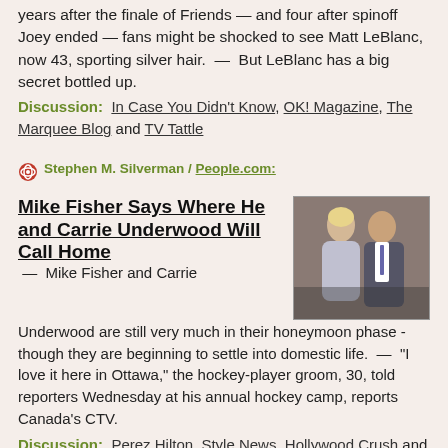years after the finale of Friends — and four after spinoff Joey ended — fans might be shocked to see Matt LeBlanc, now 43, sporting silver hair.  —  But LeBlanc has a big secret bottled up.
Discussion:  In Case You Didn't Know, OK! Magazine, The Marquee Blog and TV Tattle
Stephen M. Silverman / People.com:
Mike Fisher Says Where He and Carrie Underwood Will Call Home
[Figure (photo): Photo of a blonde woman and a man in a suit at an event]
— Mike Fisher and Carrie Underwood are still very much in their honeymoon phase - though they are beginning to settle into domestic life.  —  "I love it here in Ottawa," the hockey-player groom, 30, told reporters Wednesday at his annual hockey camp, reports Canada's CTV.
Discussion:  Perez Hilton, Style News, Hollywood Crush and The Boot
janet Charlton's Hollywood:
THE REAL REASON REESE